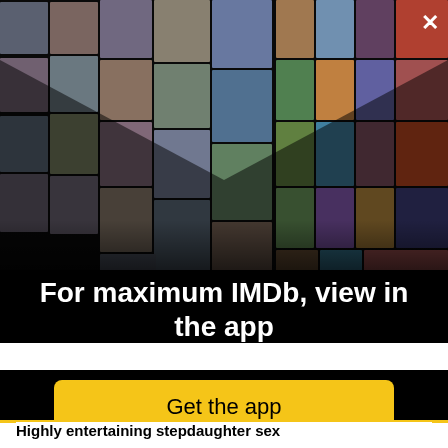[Figure (photo): IMDb app promotional collage showing actors/celebrities on the left side and movie posters on the right side arranged in a perspective grid on a black background]
For maximum IMDb, view in the app
Get the app
Highly entertaining stepdaughter sex
From Bree Mills' specialized but popular "Mommy's